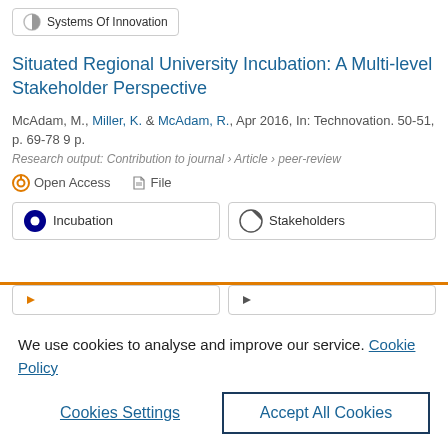Systems Of Innovation
Situated Regional University Incubation: A Multi-level Stakeholder Perspective
McAdam, M., Miller, K. & McAdam, R., Apr 2016, In: Technovation. 50-51, p. 69-78 9 p.
Research output: Contribution to journal › Article › peer-review
Open Access   File
Incubation
Stakeholders
We use cookies to analyse and improve our service. Cookie Policy
Cookies Settings
Accept All Cookies